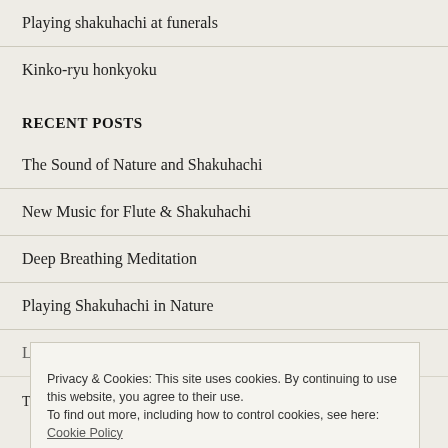Playing shakuhachi at funerals
Kinko-ryu honkyoku
RECENT POSTS
The Sound of Nature and Shakuhachi
New Music for Flute & Shakuhachi
Deep Breathing Meditation
Playing Shakuhachi in Nature
Privacy & Cookies: This site uses cookies. By continuing to use this website, you agree to their use.
To find out more, including how to control cookies, see here: Cookie Policy
Close and accept